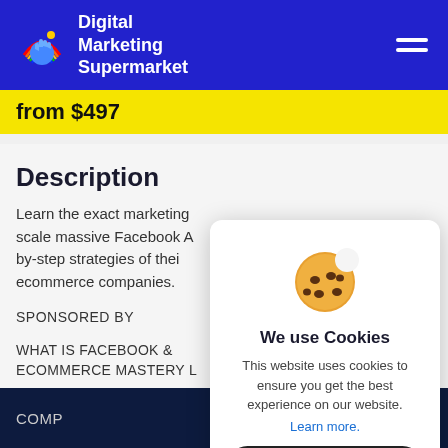Digital Marketing Supermarket
from $497
Description
Learn the exact marketing scale massive Facebook A by-step strategies of their ecommerce companies.
SPONSORED BY
WHAT IS FACEBOOK & ECOMMERCE MASTERY L
[Figure (screenshot): Cookie consent modal overlay with a cookie emoji illustration, title 'We use Cookies', description text, 'Learn more.' link, and 'Accept' button]
COMP